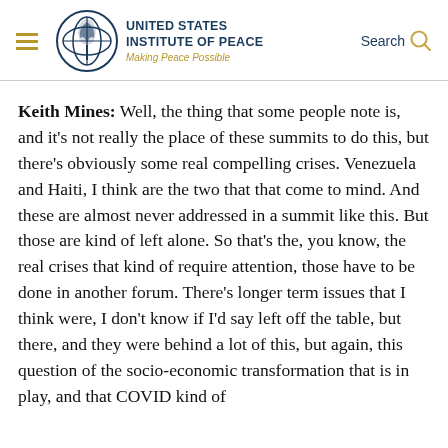United States Institute of Peace — Making Peace Possible
Keith Mines: Well, the thing that some people note is, and it's not really the place of these summits to do this, but there's obviously some real compelling crises. Venezuela and Haiti, I think are the two that that come to mind. And these are almost never addressed in a summit like this. But those are kind of left alone. So that's the, you know, the real crises that kind of require attention, those have to be done in another forum. There's longer term issues that I think were, I don't know if I'd say left off the table, but there, and they were behind a lot of this, but again, this question of the socio-economic transformation that is in play, and that COVID kind of...